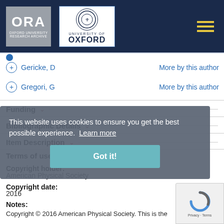[Figure (logo): ORA Oxford University Research Archive logo and University of Oxford logo in dark navy header with hamburger menu icon]
+ Gericke, D   More by this author
+ Gregori, G   More by this author
Funding
Bibliographic Details
Item Description
Terms of use
Copyright holder: American Physical Society
Copyright date: 2016
Notes:
Copyright © 2016 American Physical Society. This is the
[Figure (screenshot): Cookie consent overlay: 'This website uses cookies to ensure you get the best possible experience. Learn more' with a teal Got it! button]
[Figure (other): reCAPTCHA widget in bottom right corner]